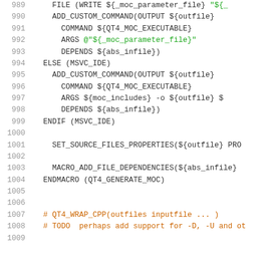[Figure (screenshot): Source code listing showing CMake script lines 989-1009 with line numbers in gray, keywords in black, and string/comment tokens in green and orange.]